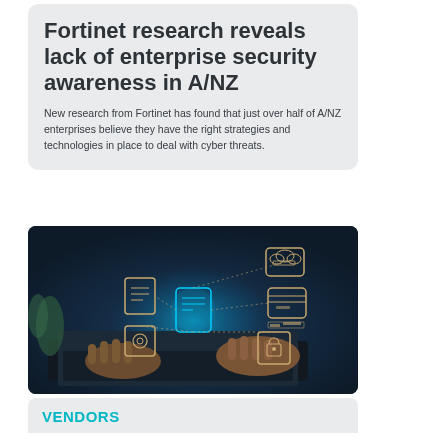Fortinet research reveals lack of enterprise security awareness in A/NZ
New research from Fortinet has found that just over half of A/NZ enterprises believe they have the right strategies and technologies in place to deal with cyber threats.
[Figure (photo): Person typing on a laptop keyboard with glowing digital security icons floating above — cloud, database, document, lock, gear, and chart icons connected by dotted lines in a tech/cybersecurity concept image.]
VENDORS